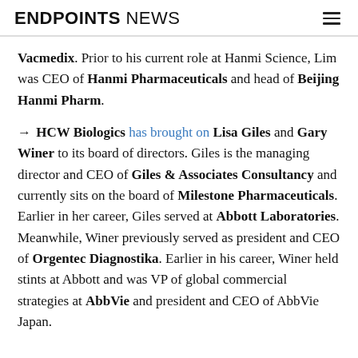ENDPOINTS NEWS
Vacmedix. Prior to his current role at Hanmi Science, Lim was CEO of Hanmi Pharmaceuticals and head of Beijing Hanmi Pharm.
→ HCW Biologics has brought on Lisa Giles and Gary Winer to its board of directors. Giles is the managing director and CEO of Giles & Associates Consultancy and currently sits on the board of Milestone Pharmaceuticals. Earlier in her career, Giles served at Abbott Laboratories. Meanwhile, Winer previously served as president and CEO of Orgentec Diagnostika. Earlier in his career, Winer held stints at Abbott and was VP of global commercial strategies at AbbVie and president and CEO of AbbVie Japan.